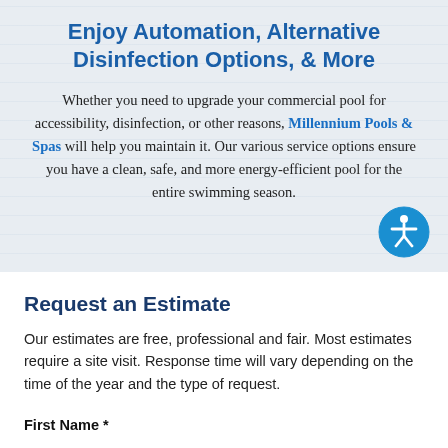Enjoy Automation, Alternative Disinfection Options, & More
Whether you need to upgrade your commercial pool for accessibility, disinfection, or other reasons, Millennium Pools & Spas will help you maintain it. Our various service options ensure you have a clean, safe, and more energy-efficient pool for the entire swimming season.
[Figure (illustration): Blue circular accessibility icon with a human figure in white]
Request an Estimate
Our estimates are free, professional and fair. Most estimates require a site visit. Response time will vary depending on the time of the year and the type of request.
First Name *